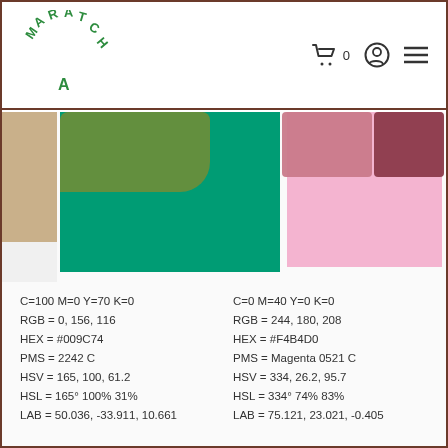MARATCHA logo with shopping cart icon (0 items), user icon, and menu icon
[Figure (photo): Color swatch comparison photo showing two paint color samples on white paper. Left: teal/green swatch with green clay tile on top. Right: pink swatch with dark pink/mauve clay tiles on top. Wooden surface visible at top-left.]
C=100 M=0 Y=70 K=0
RGB = 0, 156, 116
HEX = #009C74
PMS = 2242 C
HSV = 165, 100, 61.2
HSL = 165° 100% 31%
LAB = 50.036, -33.911, 10.661
C=0 M=40 Y=0 K=0
RGB = 244, 180, 208
HEX = #F4B4D0
PMS = Magenta 0521 C
HSV = 334, 26.2, 95.7
HSL = 334° 74% 83%
LAB = 75.121, 23.021, -0.405